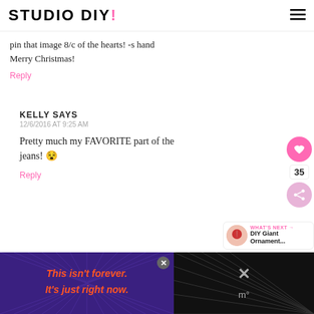STUDIO DIY!
pin that image 8/c of the hearts! -s hand Merry Christmas!
Reply
KELLY SAYS
12/6/2016 AT 9:25 AM
Pretty much my FAVORITE part of the jeans! 😵
Reply
WHAT'S NEXT → DIY Giant Ornament...
[Figure (infographic): Advertisement bar at bottom: purple background with orange italic text 'This isn't forever. It's just right now.' with a close button and dark right section.]